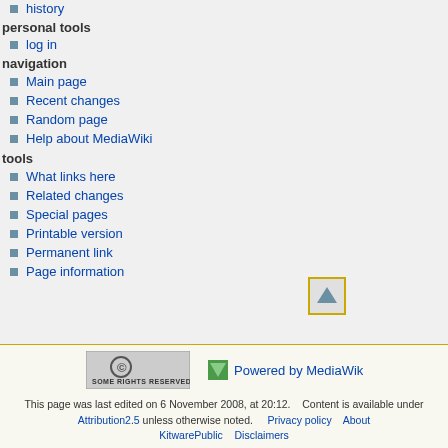history
personal tools
log in
navigation
Main page
Recent changes
Random page
Help about MediaWiki
tools
What links here
Related changes
Special pages
Printable version
Permanent link
Page information
[Figure (screenshot): Scroll to top button with upward triangle arrow, yellow border]
[Figure (logo): Creative Commons Some Rights Reserved badge]
[Figure (logo): Powered by MediaWiki badge]
This page was last edited on 6 November 2008, at 20:12. Content is available under Attribution2.5 unless otherwise noted. Privacy policy About KitwarePublic Disclaimers